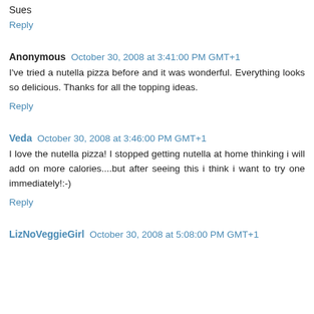Sues
Reply
Anonymous  October 30, 2008 at 3:41:00 PM GMT+1
I've tried a nutella pizza before and it was wonderful. Everything looks so delicious. Thanks for all the topping ideas.
Reply
Veda  October 30, 2008 at 3:46:00 PM GMT+1
I love the nutella pizza! I stopped getting nutella at home thinking i will add on more calories....but after seeing this i think i want to try one immediately!:-)
Reply
LizNoVeggieGirl  October 30, 2008 at 5:08:00 PM GMT+1